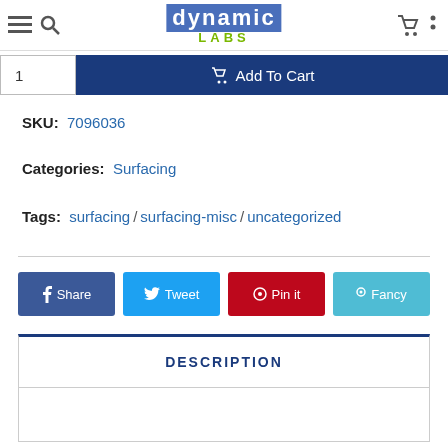Dynamic Labs header with navigation icons and logo
1  Add To Cart
SKU:  7096036
Categories:  Surfacing
Tags:  surfacing / surfacing-misc / uncategorized
Share  Tweet  Pin it  Fancy
DESCRIPTION